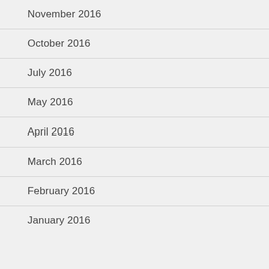November 2016
October 2016
July 2016
May 2016
April 2016
March 2016
February 2016
January 2016